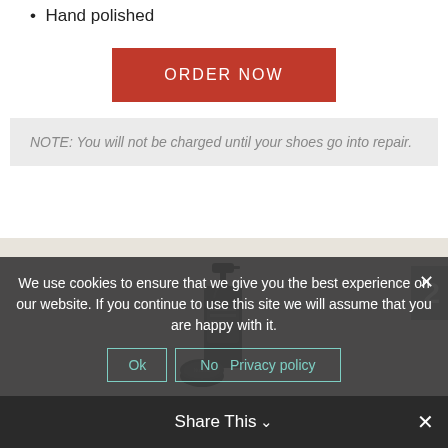Hand polished
ORDER NOW
NOTE: You will not be charged until your shoes go into repair.
[Figure (photo): Spray bottle product (NuShot) and round tin container on beige background]
We use cookies to ensure that we give you the best experience on our website. If you continue to use this site we will assume that you are happy with it.
Ok   No   Privacy policy
Share This ∨